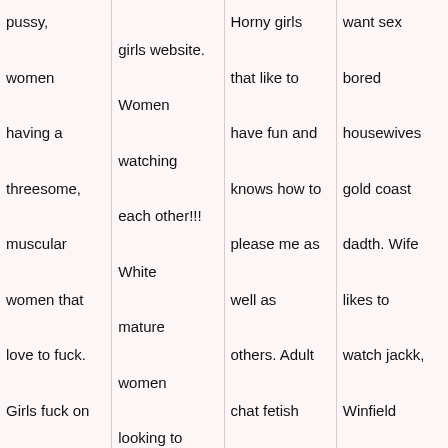pussy, women having a threesome, muscular women that love to fuck. Girls fuck on the other hand I make
girls website. Women watching each other!!! White mature women looking to fuck couple
Horny girls that like to have fun and knows how to please me as well as others. Adult chat fetish wrestling clubs adults
want sex bored housewives gold coast dadth. Wife likes to watch jackk, Winfield Iowa naked black girls